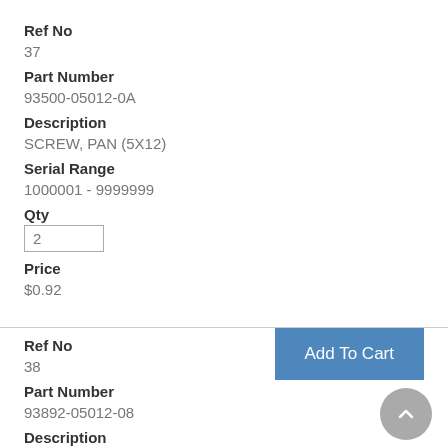Ref No
37
Part Number
93500-05012-0A
Description
SCREW, PAN (5X12)
Serial Range
1000001 - 9999999
Qty
2
Price
$0.92
Add To Cart
Ref No
38
Part Number
93892-05012-08
Description